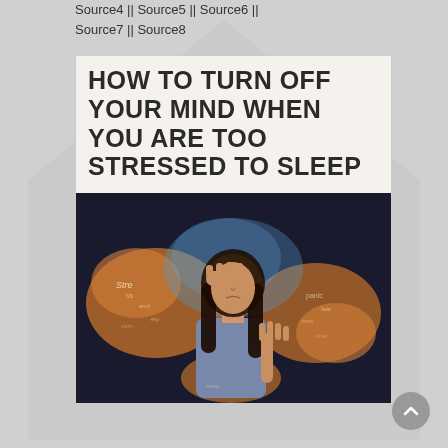Source4 || Source5 || Source6 || Source7 || Source8
HOW TO TURN OFF YOUR MIND WHEN YOU ARE TOO STRESSED TO SLEEP
[Figure (photo): A stressed woman with her hand on her forehead and another hand raised, surrounded by an orange word-cloud illustration of stress-related words on a dark background.]